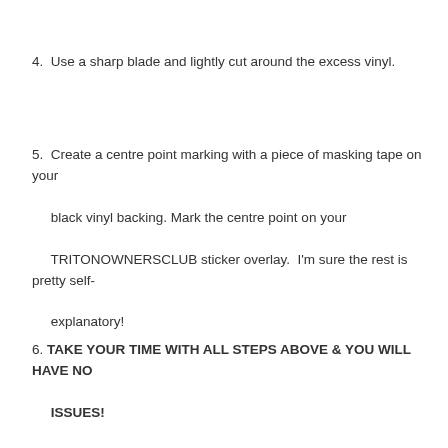4. Use a sharp blade and lightly cut around the excess vinyl.
5. Create a centre point marking with a piece of masking tape on your black vinyl backing. Mark the centre point on your TRITONOWNERSCLUB sticker overlay.  I'm sure the rest is pretty self-explanatory!
6. TAKE YOUR TIME WITH ALL STEPS ABOVE & YOU WILL HAVE NO ISSUES!
This product is in no way affiliated with Mitsubishi.
READ MORE
SHIPPING